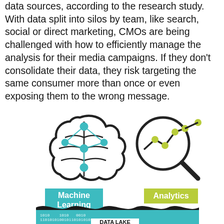data sources, according to the research study. With data split into silos by team, like search, social or direct marketing, CMOs are being challenged with how to efficiently manage the analysis for their media campaigns. If they don't consolidate their data, they risk targeting the same consumer more than once or even exposing them to the wrong message.
[Figure (infographic): Infographic showing two icons: a brain with neural network nodes (Machine Learning) and a magnifying glass with a line chart (Analytics), each with a downward arrow pointing to a 'DATA LAKE' pool of binary data.]